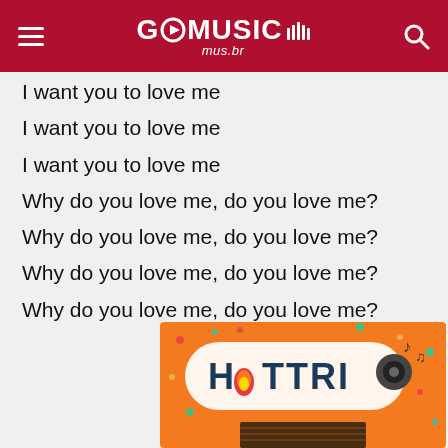GO MUSIC mus.br
I want you to love me
I want you to love me
I want you to love me
Why do you love me, do you love me?
Why do you love me, do you love me?
Why do you love me, do you love me?
Why do you love me, do you love me?
[Figure (logo): HOTTRIO logo on orange background with confetti and stage graphic]